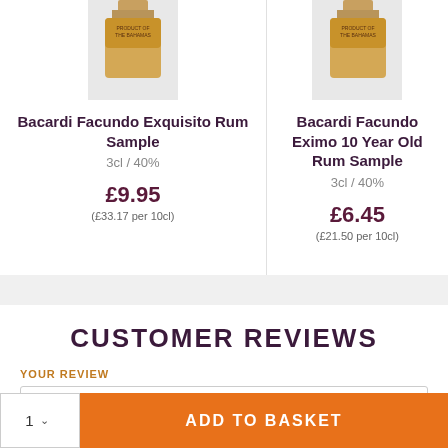[Figure (photo): Bacardi Facundo Exquisito Rum Sample bottle photo, cropped at top]
Bacardi Facundo Exquisito Rum Sample
3cl / 40%
£9.95
(£33.17 per 10cl)
[Figure (photo): Bacardi Facundo Eximo 10 Year Old Rum Sample bottle photo, cropped at top]
Bacardi Facundo Eximo 10 Year Old Rum Sample
3cl / 40%
£6.45
(£21.50 per 10cl)
CUSTOMER REVIEWS
YOUR REVIEW
Have you tried this product? Let us know what you think!
ADD TO BASKET